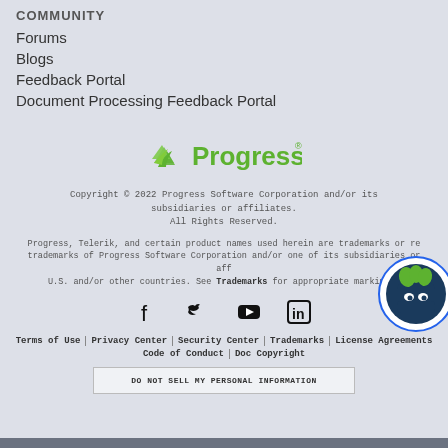COMMUNITY
Forums
Blogs
Feedback Portal
Document Processing Feedback Portal
[Figure (logo): Progress software logo with green layered arrow icon and 'Progress' text in green with registered trademark symbol]
Copyright © 2022 Progress Software Corporation and/or its subsidiaries or affiliates. All Rights Reserved.
Progress, Telerik, and certain product names used herein are trademarks or registered trademarks of Progress Software Corporation and/or one of its subsidiaries or affiliates in the U.S. and/or other countries. See Trademarks for appropriate markings.
[Figure (infographic): Social media icons: Facebook, Twitter, YouTube, LinkedIn]
Terms of Use | Privacy Center | Security Center | Trademarks | License Agreements
Code of Conduct | Doc Copyright
DO NOT SELL MY PERSONAL INFORMATION